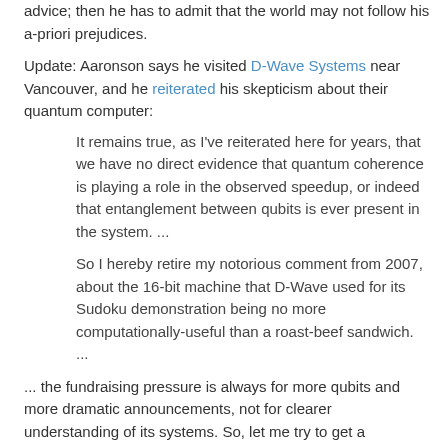advice; then he has to admit that the world may not follow his a-priori prejudices.
Update: Aaronson says he visited D-Wave Systems near Vancouver, and he reiterated his skepticism about their quantum computer:
It remains true, as I've reiterated here for years, that we have no direct evidence that quantum coherence is playing a role in the observed speedup, or indeed that entanglement between qubits is ever present in the system. ...
So I hereby retire my notorious comment from 2007, about the 16-bit machine that D-Wave used for its Sudoku demonstration being no more computationally-useful than a roast-beef sandwich. ...
... the fundraising pressure is always for more qubits and more dramatic announcements, not for clearer understanding of its systems. So, let me try to get a message out to the pointy-haired